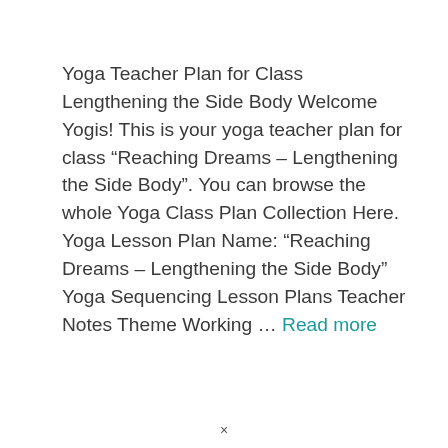Yoga Teacher Plan for Class Lengthening the Side Body Welcome Yogis! This is your yoga teacher plan for class “Reaching Dreams – Lengthening the Side Body”. You can browse the whole Yoga Class Plan Collection Here. Yoga Lesson Plan Name: “Reaching Dreams – Lengthening the Side Body” Yoga Sequencing Lesson Plans Teacher Notes Theme Working ... Read more
×